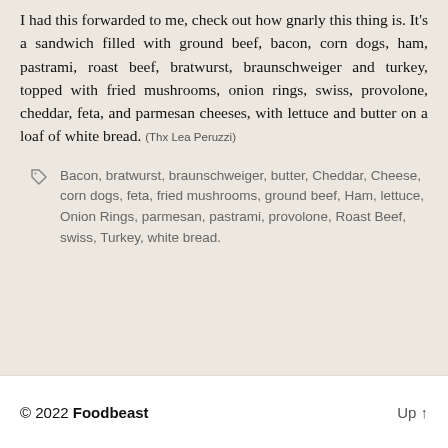I had this forwarded to me, check out how gnarly this thing is. It's a sandwich filled with ground beef, bacon, corn dogs, ham, pastrami, roast beef, bratwurst, braunschweiger and turkey, topped with fried mushrooms, onion rings, swiss, provolone, cheddar, feta, and parmesan cheeses, with lettuce and butter on a loaf of white bread. (Thx Lea Peruzzi)
Bacon, bratwurst, braunschweiger, butter, Cheddar, Cheese, corn dogs, feta, fried mushrooms, ground beef, Ham, lettuce, Onion Rings, parmesan, pastrami, provolone, Roast Beef, swiss, Turkey, white bread.
© 2022 Foodbeast    Up ↑